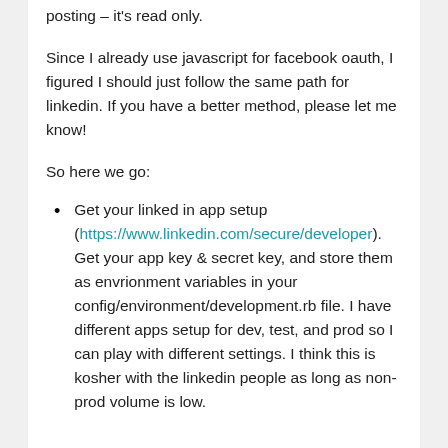posting – it's read only.
Since I already use javascript for facebook oauth, I figured I should just follow the same path for linkedin. If you have a better method, please let me know!
So here we go:
Get your linked in app setup (https://www.linkedin.com/secure/developer). Get your app key & secret key, and store them as envrionment variables in your config/environment/development.rb file. I have different apps setup for dev, test, and prod so I can play with different settings. I think this is kosher with the linkedin people as long as non-prod volume is low.